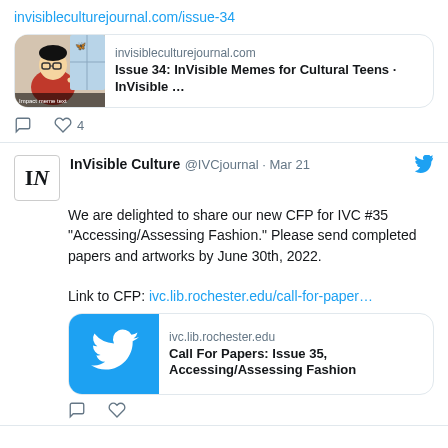invisibleculturejournal.com/issue-34
[Figure (screenshot): Link preview card showing a meme image with text: invisibleculturejournal.com / Issue 34: InVisible Memes for Cultural Teens · InVisible ...]
♡ 4
InVisible Culture @IVCjournal · Mar 21
We are delighted to share our new CFP for IVC #35 "Accessing/Assessing Fashion." Please send completed papers and artworks by June 30th, 2022.

Link to CFP: ivc.lib.rochester.edu/call-for-paper…
[Figure (screenshot): Link preview card showing Twitter bird logo with text: ivc.lib.rochester.edu / Call For Papers: Issue 35, Accessing/Assessing Fashion]